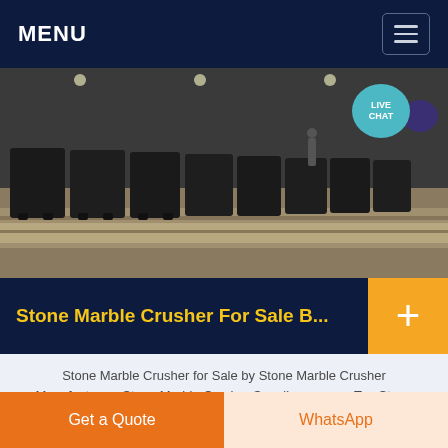MENU
[Figure (photo): Industrial factory floor with multiple stone crushing machines lined up in a row, dark interior lighting]
Stone Marble Crusher For Sale B...
Stone Marble Crusher for Sale by Stone Marble Crusher Manufacturers Stone Marble Crusher Suppliers among Top Stone Marble Crusher Manufacturing Companies that have Stone Marble Crusher for Sale in China, Turkey, India, Germany at
Get a Quote
WhatsApp